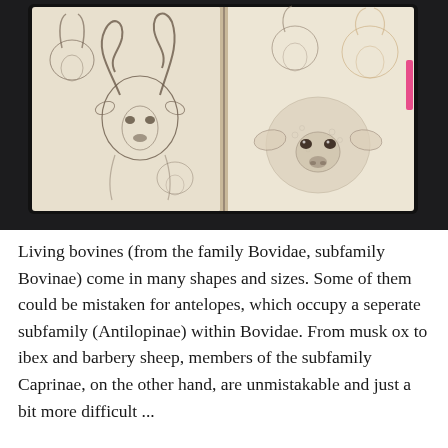[Figure (illustration): A photograph of an open sketchbook displaying pencil drawings of bovine and antelope animal heads. The left page shows multiple kudu/antelope heads with large spiral horns, and smaller deer-like animals. The right page shows more animal head sketches including what appears to be a young bovine/lamb face with big ears in the center, and lighter colored antelope sketches in the upper right. The sketchbook is on a dark surface.]
Living bovines (from the family Bovidae, subfamily Bovinae) come in many shapes and sizes. Some of them could be mistaken for antelopes, which occupy a seperate subfamily (Antilopinae) within Bovidae. From musk ox to ibex and barbery sheep, members of the subfamily Caprinae, on the other hand, are unmistakable and just a bit more difficult ...